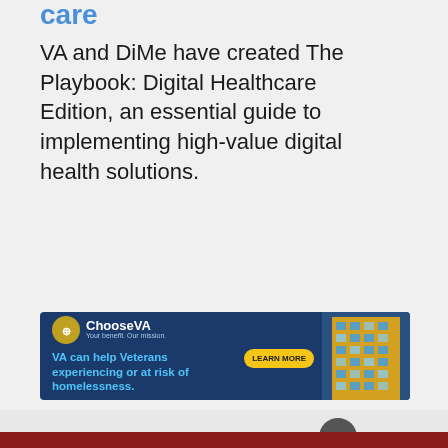care
VA and DiMe have created The Playbook: Digital Healthcare Edition, an essential guide to implementing high-value digital health solutions.
[Figure (infographic): ChooseVA advertisement banner with navy blue background. Left side shows ChooseVA logo (eagle seal) and text. Center shows text: 'VA can help Veterans experiencing or at risk of homelessness.' with a yellow 'LEARN MORE' button. Right side shows a photo of a yellow and blue apartment building.]
Last updated October 15, 2021